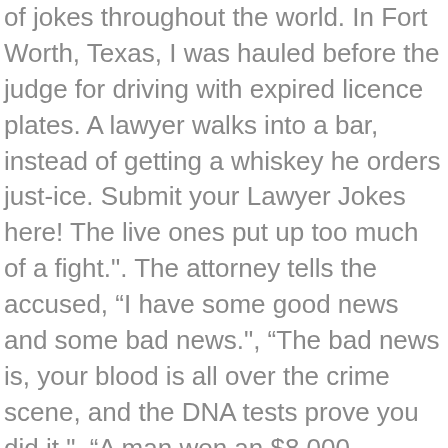of jokes throughout the world. In Fort Worth, Texas, I was hauled before the judge for driving with expired licence plates. A lawyer walks into a bar, instead of getting a whiskey he orders just-ice. Submit your Lawyer Jokes here! The live ones put up too much of a fight.". The attorney tells the accused, “I have some good news and some bad news.", “The bad news is, your blood is all over the crime scene, and the DNA tests prove you did it.", “A man won an $8,000 settlement from Disneyland after he got stuck on the It’s a Small World ride. How do you get a lawyer out of a tree? 29. Chuck Norris once went to court for a crime, the judge pleaded guilty. The judge had not yet put in an appearance in the San Diego traffic court. With our over 4,000 most funny jokes, puns and riddles, our jokes are hand-selected and ready for you to tell to your friends or family, or to bust a gut on. 59. Funny Jokes; Bar Jokes; Corny Jokes; Dirty Jokes; Lawyer Jokes; Long Jokes ; Naughty Jokes; Hilarious Dirty Best Lawyer Joke Of The Day: Getting A Date. This fledgling attorney worked hard on his initial pleading, which should have read “Attorney at Law” at the top of the first page. A: Lipstick Q: What’s the difference